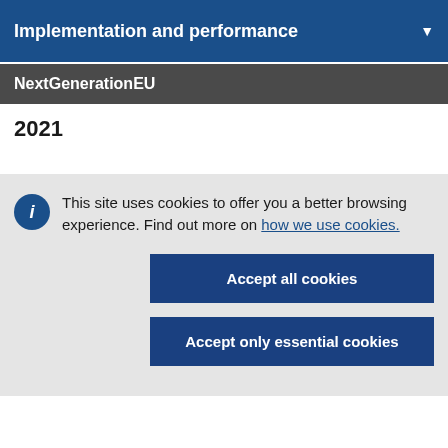Implementation and performance
NextGenerationEU
2021
This site uses cookies to offer you a better browsing experience. Find out more on how we use cookies.
Accept all cookies
Accept only essential cookies